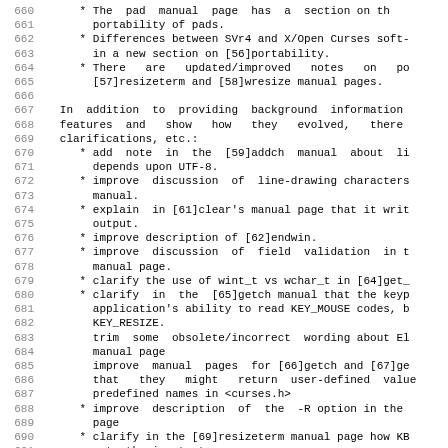Lines 660-691 of a software changelog/manual page listing improvements and clarifications to ncurses manual pages, with line numbers in left margin.